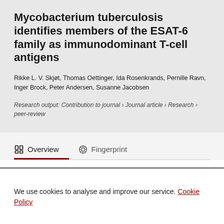Mycobacterium tuberculosis identifies members of the ESAT-6 family as immunodominant T-cell antigens
Rikke L. V. Skjøt, Thomas Oettinger, Ida Rosenkrands, Pernille Ravn, Inger Brock, Peter Andersen, Susanne Jacobsen
Research output: Contribution to journal › Journal article › Research › peer-review
Overview   Fingerprint
We use cookies to analyse and improve our service. Cookie Policy